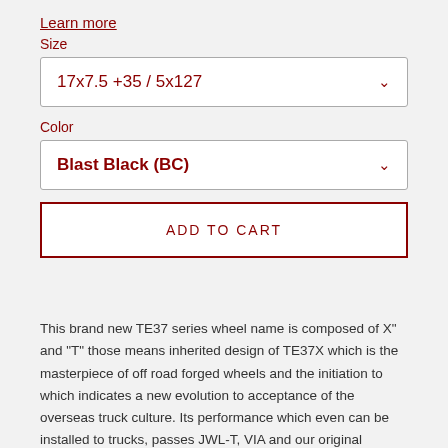Learn more
Size
17x7.5 +35 / 5x127
Color
Blast Black (BC)
ADD TO CART
This brand new TE37 series wheel name is composed of X" and "T" those means inherited design of TE37X which is the masterpiece of off road forged wheels and the initiation to which indicates a new evolution to acceptance of the overseas truck culture. Its performance which even can be installed to trucks, passes JWL-T, VIA and our original strength test easily. In addition, RAYS patented